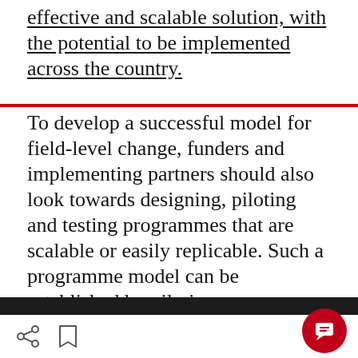effective and scalable solution, with the potential to be implemented across the country.
To develop a successful model for field-level change, funders and implementing partners should also look towards designing, piloting and testing programmes that are scalable or easily replicable. Such a programme model can be established by piloting an intervention in a local context, which can then be exported to other
We use cookies to improve functionality and performance of this site. By continuing to browse this site, you consent to the use of cookies.
ACCEPT ALL COOKIES